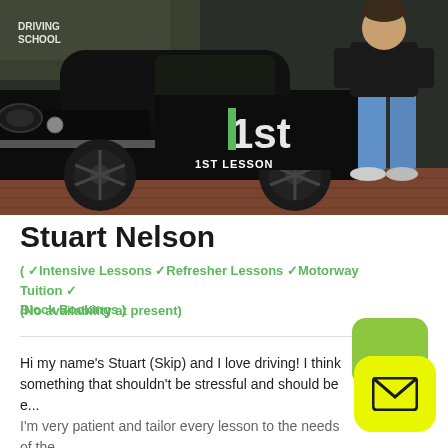[Figure (photo): Driving instructor Stuart Nelson standing next to a black Toyota Yaris with '1st Driving School' branding on a brick driveway]
Stuart Nelson
( ✓Intensive Lessons ✓Refresher Lessons ✓Motorway Tuition ✓ Block Bookings )
(No availability at present)
Hi my name's Stuart (Skip) and I love driving! I think something that shouldn't be stressful and should be e... I'm very patient and tailor every lesson to the needs of the